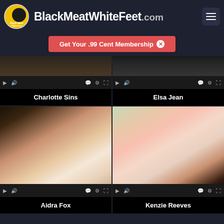BlackMeatWhiteFeet.com
Get Your .99 Cent Membership
[Figure (screenshot): Video thumbnail - Charlotte Sins]
[Figure (screenshot): Video thumbnail - Elsa Jean]
[Figure (screenshot): Video thumbnail - Aidra Fox]
[Figure (screenshot): Video thumbnail - Kenzie Reeves]